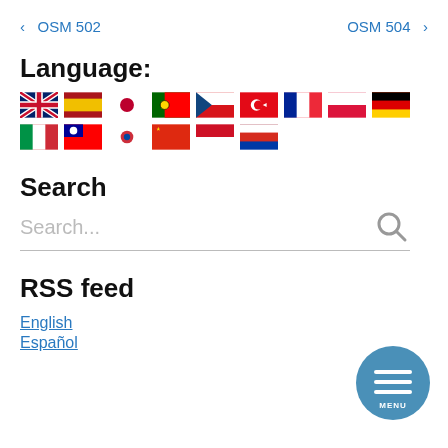< OSM 502    OSM 504 >
Language:
[Figure (illustration): Row of country flag icons representing language selections: UK, Spain, Japan, Portugal, Czech Republic, Turkey, France, Poland, Germany, Italy, Taiwan, South Korea, China, Indonesia, Russia]
Search
Search...
RSS feed
English
Español
[Figure (illustration): Blue circular MENU button with three horizontal lines icon]